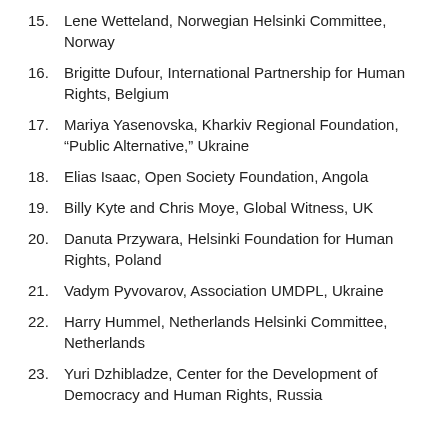15. Lene Wetteland, Norwegian Helsinki Committee, Norway
16. Brigitte Dufour, International Partnership for Human Rights, Belgium
17. Mariya Yasenovska, Kharkiv Regional Foundation, “Public Alternative,” Ukraine
18. Elias Isaac, Open Society Foundation, Angola
19. Billy Kyte and Chris Moye, Global Witness, UK
20. Danuta Przywara, Helsinki Foundation for Human Rights, Poland
21. Vadym Pyvovarov, Association UMDPL, Ukraine
22. Harry Hummel, Netherlands Helsinki Committee, Netherlands
23. Yuri Dzhibladze, Center for the Development of Democracy and Human Rights, Russia